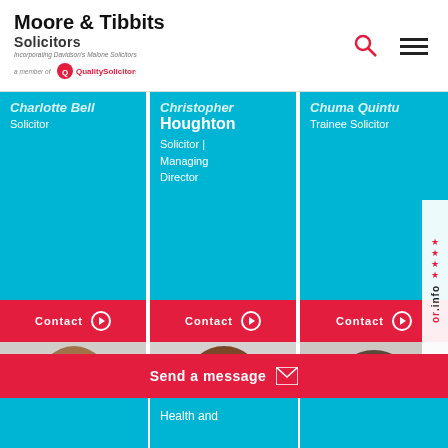[Figure (logo): Moore & Tibbits Solicitors logo with QualitySolicitors badge]
Charlotte Bell - Solicitor
Christopher Houghton - Solicitor | Managing Director
Chuma Quintu - Trainee Solicitor
Contact
Contact
Contact
[Figure (photo): Photo of Claire Houghton]
[Figure (photo): Photo of Debbie Anderson]
[Figure (photo): Photo of Denise Gorman]
Claire Houghton
Debbie Anderson
Denise Gorman
Send a message
Health and